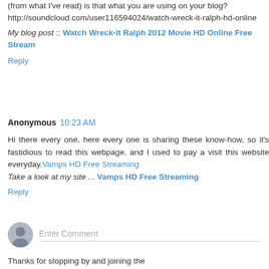(from what I've read) is that what you are using on your blog?http://soundcloud.com/user116594024/watch-wreck-it-ralph-hd-online
My blog post :: Watch Wreck-It Ralph 2012 Movie HD Online Free Stream
Reply
Anonymous  10:23 AM
Hi there every one, here every one is sharing these know-how, so it's fastidious to read this webpage, and I used to pay a visit this website everyday.Vamps HD Free Streaming
Take a look at my site ... Vamps HD Free Streaming
Reply
[Figure (other): User avatar placeholder — grey circle with silhouette icon]
Enter Comment
Thanks for stopping by and joining the